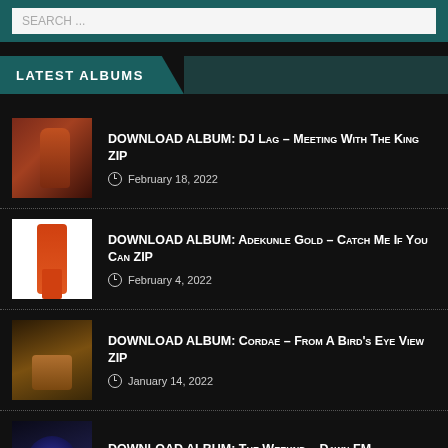SEARCH ...
LATEST ALBUMS
DOWNLOAD ALBUM: DJ Lag – Meeting With The King ZIP
February 18, 2022
DOWNLOAD ALBUM: Adekunle Gold – Catch Me If You Can ZIP
February 4, 2022
DOWNLOAD ALBUM: Cordae – From A Bird's Eye View ZIP
January 14, 2022
DOWNLOAD ALBUM: The Weeknd – Dawn FM ZIP